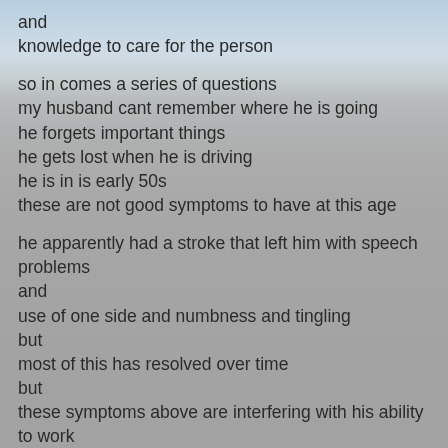and
knowledge to care for the person
so in comes a series of questions
my husband cant remember where he is going
he forgets important things
he gets lost when he is driving
he is in is early 50s
these are not good symptoms to have at this age
he apparently had a stroke that left him with speech problems
and
use of one side and numbness and tingling
but
most of this has resolved over time
but
these symptoms above are interfering with his ability to work
he
is morbidly obese